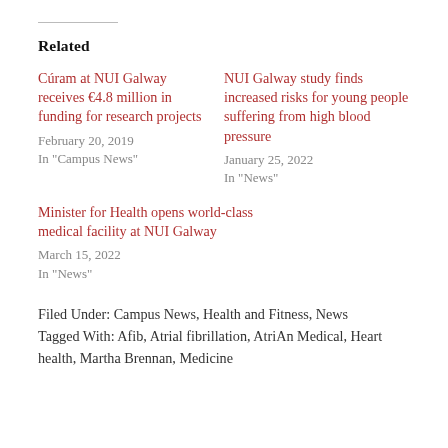Related
Cúram at NUI Galway receives €4.8 million in funding for research projects
February 20, 2019
In "Campus News"
NUI Galway study finds increased risks for young people suffering from high blood pressure
January 25, 2022
In "News"
Minister for Health opens world-class medical facility at NUI Galway
March 15, 2022
In "News"
Filed Under: Campus News, Health and Fitness, News
Tagged With: Afib, Atrial fibrillation, AtriAn Medical, Heart health, Martha Brennan, Medicine